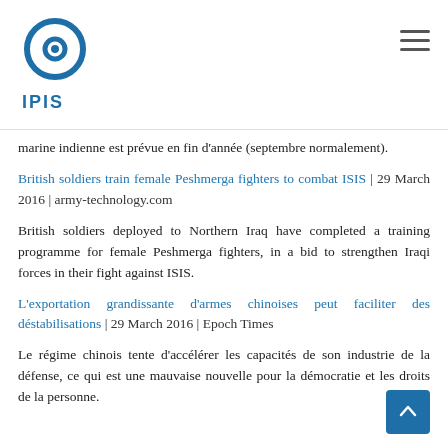IPIS
marine indienne est prévue en fin d'année (septembre normalement).
British soldiers train female Peshmerga fighters to combat ISIS | 29 March 2016 | army-technology.com
British soldiers deployed to Northern Iraq have completed a training programme for female Peshmerga fighters, in a bid to strengthen Iraqi forces in their fight against ISIS.
L'exportation grandissante d'armes chinoises peut faciliter des déstabilisations | 29 March 2016 | Epoch Times
Le régime chinois tente d'accélérer les capacités de son industrie de la défense, ce qui est une mauvaise nouvelle pour la démocratie et les droits de la personne.